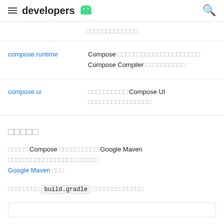≡ developers 🤖 🔍
□□□□□□□□□□□□□
|  |  |
| --- | --- |
| compose.runtime | Compose □□□□□□□□□□□□□□□□□□□□□
Compose Compiler □□□□□□□□□□ |
| compose.ui | □□□□□□□□□□ Compose UI □□□□□□□□□□□□□□□□ |
□□□□□
□□□□□ Compose □□□□□□□□□□ Google Maven □□□□□□□□□□□□□□□□□□□□□□□ Google Maven □□□
□□□□□□□□ build.gradle □□□□□□□□□□□□□